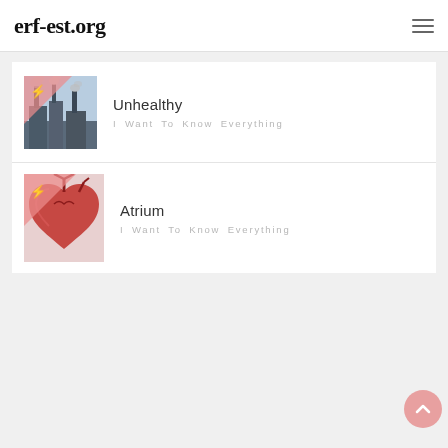erf-est.org
[Figure (photo): Industrial factory with smokestacks emitting smoke, pink triangle overlay with lightning bolt icon]
Unhealthy
I Want To Know Everything
[Figure (photo): Anatomical illustration of a human heart, pink triangle overlay with lightning bolt icon]
Atrium
I Want To Know Everything